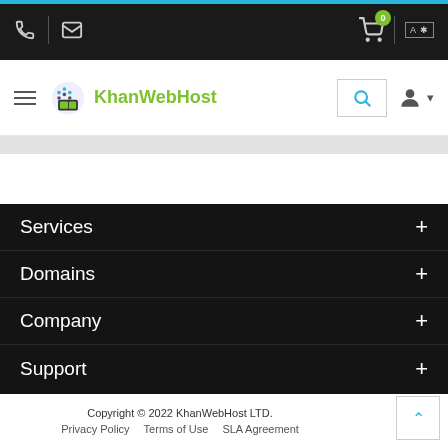KhanWebHost navigation header with phone, email, cart (0), language toggle, hamburger menu, logo, search, and user account icons
// Portal Home > OffShore/DMCA Ignored Hosting
Services +
Domains +
Company +
Support +
Copyright © 2022 KhanWebHost LTD. Privacy Policy   Terms of Use   SLA Agreement